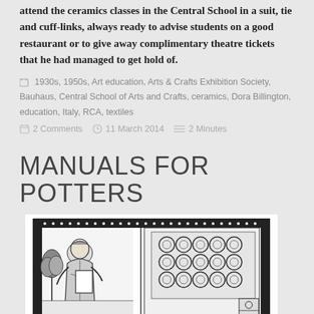attend the ceramics classes in the Central School in a suit, tie and cuff-links, always ready to advise students on a good restaurant or to give away complimentary theatre tickets that he had managed to get hold of.
1930s, 1950s, Art education, Arts & Crafts Exhibition Society, Bauhaus, Central School of Arts and Crafts, ceramics, Dora Billington, education, Italy, RCA, textiles
2 Comments   11 March 2014   2 Minutes
MANUALS FOR POTTERS
[Figure (illustration): Black and white woodcut-style illustration showing a medieval or Arts and Crafts style figure (person in robes) standing in an ornate framed scene with decorative border patterns and circular motifs in the background.]